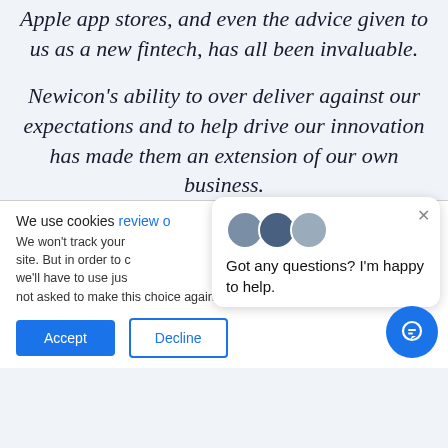Apple app stores, and even the advice given to us as a new fintech, has all been invaluable.
Newicon's ability to over deliver against our expectations and to help drive our innovation has made them an extension of our own business.
[Figure (screenshot): Cookie consent banner with Accept and Decline buttons, and a chat popup overlay with avatars saying 'Got any questions? I'm happy to help.' and a blue chat FAB button.]